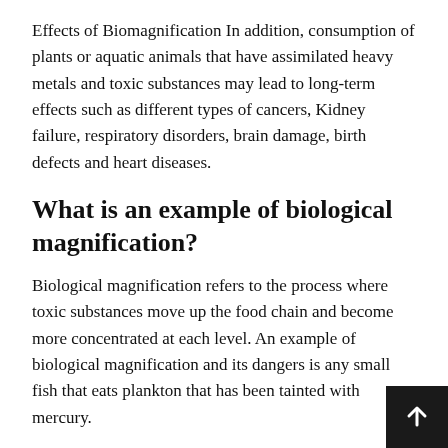Effects of Biomagnification In addition, consumption of plants or aquatic animals that have assimilated heavy metals and toxic substances may lead to long-term effects such as different types of cancers, Kidney failure, respiratory disorders, brain damage, birth defects and heart diseases.
What is an example of biological magnification?
Biological magnification refers to the process where toxic substances move up the food chain and become more concentrated at each level. An example of biological magnification and its dangers is any small fish that eats plankton that has been tainted with mercury.
Why is biomagnification dangerous?